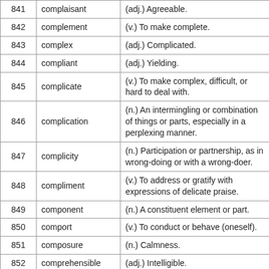| # | Word | Definition |
| --- | --- | --- |
| 841 | complaisant | (adj.) Agreeable. |
| 842 | complement | (v.) To make complete. |
| 843 | complex | (adj.) Complicated. |
| 844 | compliant | (adj.) Yielding. |
| 845 | complicate | (v.) To make complex, difficult, or hard to deal with. |
| 846 | complication | (n.) An intermingling or combination of things or parts, especially in a perplexing manner. |
| 847 | complicity | (n.) Participation or partnership, as in wrong-doing or with a wrong-doer. |
| 848 | compliment | (v.) To address or gratify with expressions of delicate praise. |
| 849 | component | (n.) A constituent element or part. |
| 850 | comport | (v.) To conduct or behave (oneself). |
| 851 | composure | (n.) Calmness. |
| 852 | comprehensible | (adj.) Intelligible. |